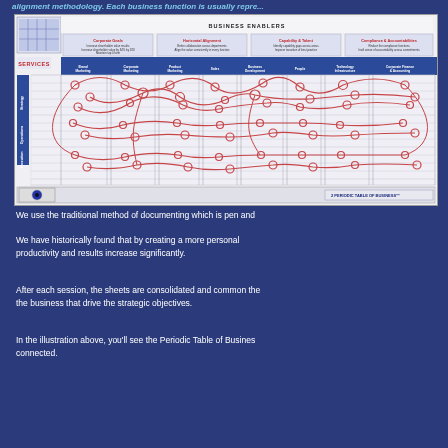alignment methodology. Each business function is usually repre...
[Figure (other): Periodic Table of Business - a large grid/matrix diagram showing Business Enablers across the top (Corporate Goals, Horizontal Alignment, Capability & Talent, Compliance & Accountability) and Services down the left side (Strategy, Operations, Execution) with columns for Brand Marketing, Corporate Marketing, Product Marketing, Sales, Business Development, People, Technology Infrastructure, Corporate Finance & Accounting. Red circles and connecting lines are hand-drawn on top to show connections between elements. Logo in bottom-left and label '2 PERIODIC TABLE OF BUSINESS' in bottom-right.]
We use the traditional method of documenting which is pen and
We have historically found that by creating a more personal productivity and results increase significantly.
After each session, the sheets are consolidated and common the the business that drive the strategic objectives.
In the illustration above, you'll see the Periodic Table of Busines connected.